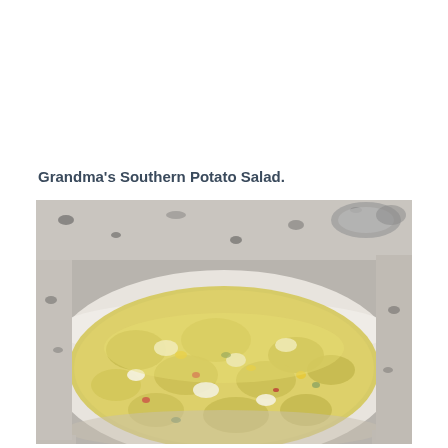Grandma's Southern Potato Salad.
[Figure (photo): A large white casserole dish filled with creamy yellow southern potato salad, sitting on a granite countertop. The salad contains visible chunks of potato, egg, and other mix-ins with a mustard-mayo dressing.]